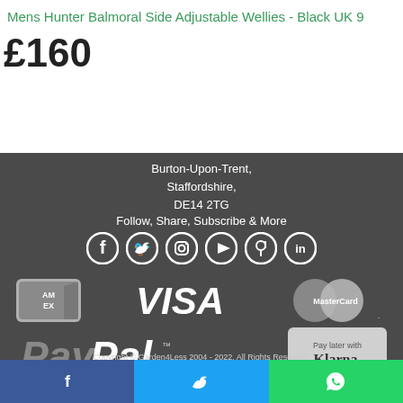Mens Hunter Balmoral Side Adjustable Wellies - Black UK 9
£160
Burton-Upon-Trent,
Staffordshire,
DE14 2TG
Follow, Share, Subscribe & More
[Figure (infographic): Social media icons: Facebook, Twitter, Instagram, YouTube, Pinterest, LinkedIn]
[Figure (infographic): Payment method logos: American Express, Visa, MasterCard, PayPal, Pay later with Klarna]
Copyright © Garden4Less 2004 - 2022. All Rights Reserved.
[Figure (infographic): Bottom share bar with Facebook (blue), Twitter (blue), WhatsApp (green) icons]